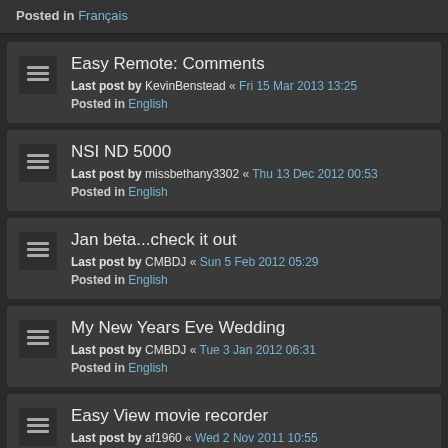Posted in Français
Easy Remote: Comments
Last post by KevinBenstead « Fri 15 Mar 2013 13:25
Posted in English
NSI ND 5000
Last post by missbethany3302 « Thu 13 Dec 2012 00:53
Posted in English
Jan beta...check it out
Last post by CMBDJ « Sun 5 Feb 2012 05:29
Posted in English
My New Years Eve Wedding
Last post by CMBDJ « Tue 3 Jan 2012 06:31
Posted in English
Easy View movie recorder
Last post by af1960 « Wed 2 Nov 2011 10:55